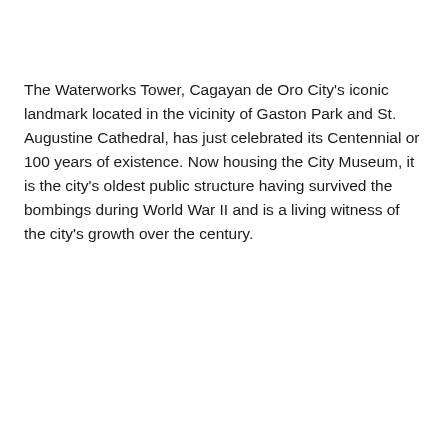The Waterworks Tower, Cagayan de Oro City's iconic landmark located in the vicinity of Gaston Park and St. Augustine Cathedral, has just celebrated its Centennial or 100 years of existence. Now housing the City Museum, it is the city's oldest public structure having survived the bombings during World War II and is a living witness of the city's growth over the century.